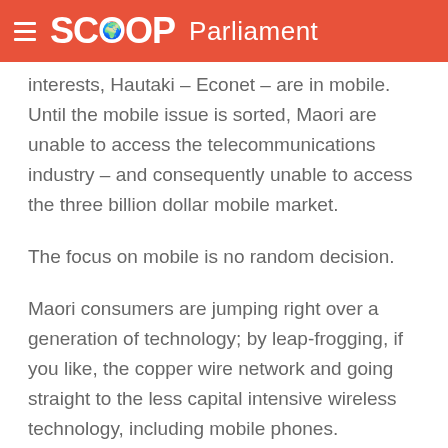SCOOP Parliament
interests, Hautaki – Econet – are in mobile. Until the mobile issue is sorted, Maori are unable to access the telecommunications industry – and consequently unable to access the three billion dollar mobile market.
The focus on mobile is no random decision.
Maori consumers are jumping right over a generation of technology; by leap-frogging, if you like, the copper wire network and going straight to the less capital intensive wireless technology, including mobile phones.
Any one who regularly hangs out with our rangatahi